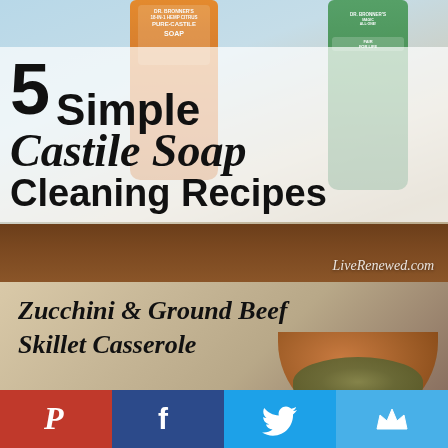[Figure (photo): Photo of two Dr. Bronner's castile soap bottles (orange hemp citrus and green) on a light blue/grey background, with a wooden surface at the bottom]
5 Simple Castile Soap Cleaning Recipes
LiveRenewed.com
[Figure (photo): Photo of a wooden bowl containing zucchini and ground beef skillet casserole]
Zucchini & Ground Beef Skillet Casserole
[Figure (infographic): Social sharing bar with Pinterest (red), Facebook (dark blue), Twitter (light blue), and crown/Bloglovin (blue) buttons]